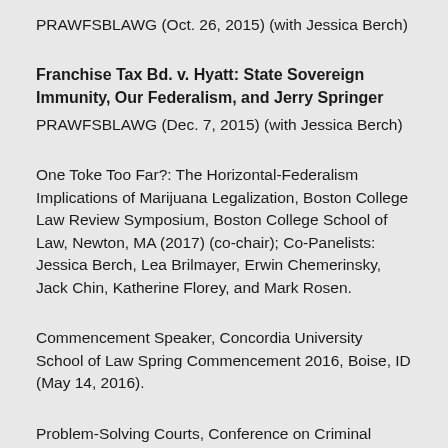PRAWFSBLAWG (Oct. 26, 2015) (with Jessica Berch)
Franchise Tax Bd. v. Hyatt: State Sovereign Immunity, Our Federalism, and Jerry Springer
PRAWFSBLAWG (Dec. 7, 2015) (with Jessica Berch)
One Toke Too Far?: The Horizontal-Federalism Implications of Marijuana Legalization, Boston College Law Review Symposium, Boston College School of Law, Newton, MA (2017) (co-chair); Co-Panelists: Jessica Berch, Lea Brilmayer, Erwin Chemerinsky, Jack Chin, Katherine Florey, and Mark Rosen.
Commencement Speaker, Concordia University School of Law Spring Commencement 2016, Boise, ID (May 14, 2016).
Problem-Solving Courts, Conference on Criminal Justice Reform, Concordia University School of Law, in partnership with the U.S. Attorney for the District of Idaho and the Federal Defender